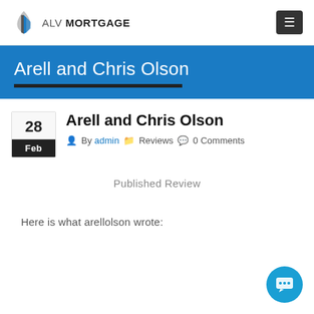ALV MORTGAGE
Arell and Chris Olson
Arell and Chris Olson
By admin   Reviews   0 Comments
Published Review
Here is what arellolson wrote: